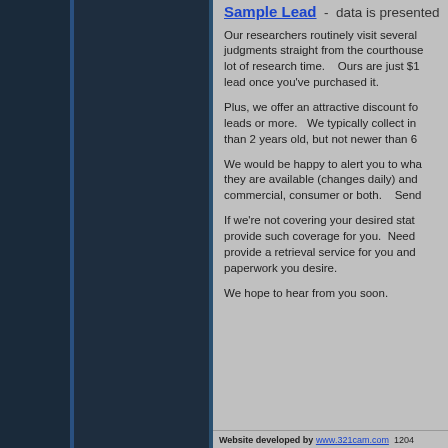Sample Lead - data is presented
Our researchers routinely visit several judgments straight from the courthouse lot of research time.   Ours are just $1 lead once you've purchased it.
Plus, we offer an attractive discount fo leads or more.   We typically collect in than 2 years old, but not newer than 6
We would be happy to alert you to wha they are available (changes daily) and commercial, consumer or both.   Send
If we're not covering your desired stat provide such coverage for you.  Need provide a retrieval service for you and paperwork you desire.
We hope to hear from you soon.
Website developed by www.321cam.com  1204